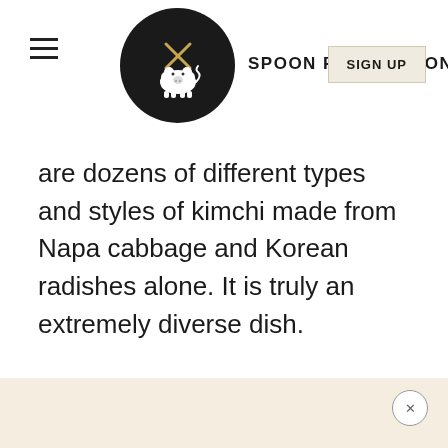SPOON FORK BACON
are dozens of different types and styles of kimchi made from Napa cabbage and Korean radishes alone. It is truly an extremely diverse dish.